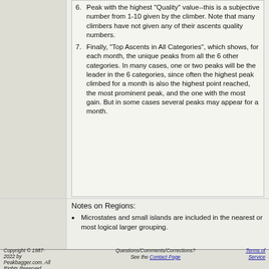6. Peak with the highest "Quality" value--this is a subjective number from 1-10 given by the climber. Note that many climbers have not given any of their ascents quality numbers.
7. Finally, "Top Ascents in All Categories", which shows, for each month, the unique peaks from all the 6 other categories. In many cases, one or two peaks will be the leader in the 6 categories, since often the highest peak climbed for a month is also the highest point reached, the most prominent peak, and the one with the most gain. But in some cases several peaks may appear for a month.
Notes on Regions:
Microstates and small islands are included in the nearest or most logical larger grouping.
Copyright © 1987-2022 by Peakbagger.com. All Rights Reserved.   Questions/Comments/Corrections? See the Contact Page   Terms of Service